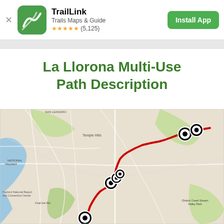[Figure (screenshot): TrailLink app banner with green logo, app name 'TrailLink', subtitle 'Trails Maps & Guide', 5-star rating (5,125 reviews), and green Install App button]
La Llorona Multi-Use Path Description
[Figure (map): Map showing La Llorona Multi-Use Path route marked with a red line and several black/white trail marker icons along the path, showing the Bay Area region with streets, parks, and waterways]